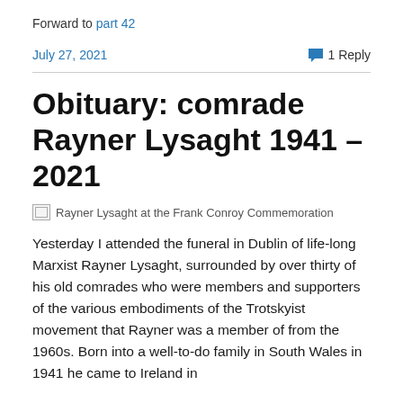Forward to part 42
July 27, 2021
1 Reply
Obituary: comrade Rayner Lysaght 1941 – 2021
[Figure (photo): Rayner Lysaght at the Frank Conroy Commemoration — broken image placeholder with alt text]
Yesterday I attended the funeral in Dublin of life-long Marxist Rayner Lysaght, surrounded by over thirty of his old comrades who were members and supporters of the various embodiments of the Trotskyist movement that Rayner was a member of from the 1960s. Born into a well-to-do family in South Wales in 1941 he came to Ireland in